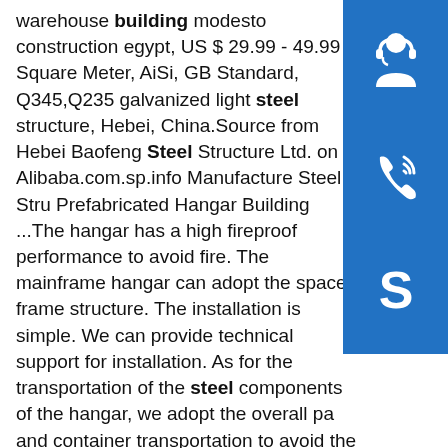warehouse building modesto construction egypt, US $ 29.99 - 49.99 / Square Meter, AiSi, GB Standard, Q345,Q235 galvanized light steel structure, Hebei, China.Source from Hebei Baofeng Steel Structure Ltd. on Alibaba.com.sp.info Manufacture Steel Stru Prefabricated Hangar Building ...The hangar has a high fireproof performance to avoid fire. The mainframe hangar can adopt the space frame structure. The installation is simple. We can provide technical support for installation. As for the transportation of the steel components of the hangar, we adopt the overall pa and container transportation to avoid the damage of steel members during the transportation ...sp.info Portal Steel Structure WarehousesThe advantages of steel structure warehouses are: Space: It is possible to build steel structure buildings without supporting columns inside the structure. Speed: The steel structure warehouse can be built quickly because all parts are prefabricated according to the selected design. Safety: Steel is a strong
[Figure (illustration): Blue icon box with white headset/support icon]
[Figure (illustration): Blue icon box with white phone/call icon]
[Figure (illustration): Blue icon box with white Skype icon]